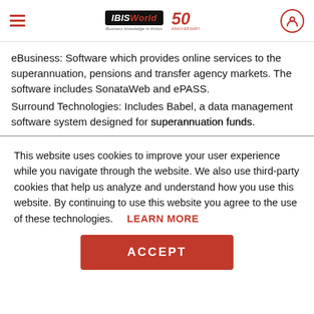IBISWorld 50th Anniversary header with hamburger menu and user icon
eBusiness: Software which provides online services to the superannuation, pensions and transfer agency markets. The software includes SonataWeb and ePASS.
Surround Technologies: Includes Babel, a data management software system designed for superannuation funds.
This website uses cookies to improve your user experience while you navigate through the website. We also use third-party cookies that help us analyze and understand how you use this website. By continuing to use this website you agree to the use of these technologies. LEARN MORE
ACCEPT